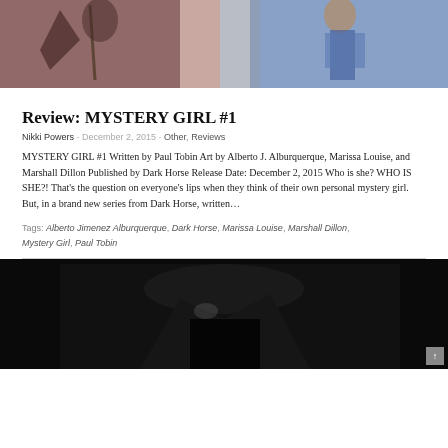[Figure (illustration): Comic book cover art showing a figure with a sword on the left and a woman in blue on the right, with red and blue tones]
Review: MYSTERY GIRL #1
Nikki Powers - December 2, 2015 - Other, Reviews
MYSTERY GIRL #1 Written by Paul Tobin Art by Alberto J. Alburquerque, Marissa Louise, and Marshall Dillon Published by Dark Horse Release Date: December 2, 2015 Who is she? WHO IS SHE?! That's the question on everyone's lips when they think of their own personal mystery girl. But, in a brand new series from Dark Horse, written…
Tags: Alberto Jimenez Alburquerque, Dark Horse, Marissa Louise, Marshall Dillon, Mystery Girl, Paul Tobin
[Figure (illustration): Dark silhouette image, mostly black with a figure shape visible, appears to be a comic/graphic novel image]